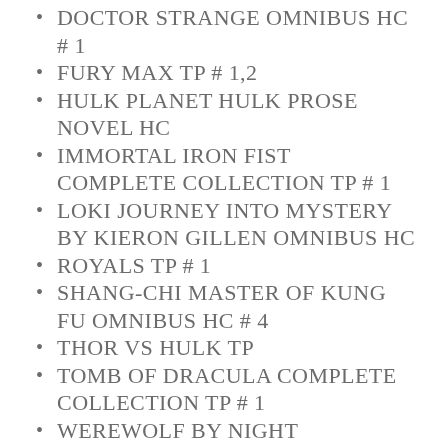DOCTOR STRANGE OMNIBUS HC # 1
FURY MAX TP # 1,2
HULK PLANET HULK PROSE NOVEL HC
IMMORTAL IRON FIST COMPLETE COLLECTION TP # 1
LOKI JOURNEY INTO MYSTERY BY KIERON GILLEN OMNIBUS HC
ROYALS TP # 1
SHANG-CHI MASTER OF KUNG FU OMNIBUS HC # 4
THOR VS HULK TP
TOMB OF DRACULA COMPLETE COLLECTION TP # 1
WEREWOLF BY NIGHT COMPLETE COLLECTION TP # 1
Image Comics